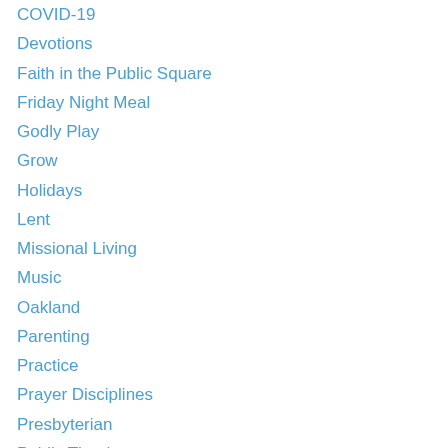COVID-19
Devotions
Faith in the Public Square
Friday Night Meal
Godly Play
Grow
Holidays
Lent
Missional Living
Music
Oakland
Parenting
Practice
Prayer Disciplines
Presbyterian
Public Theology
Race Matters
Recreation VBS
Serve
Uncategorized